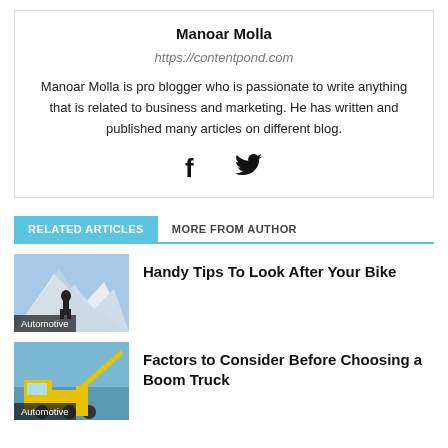Manoar Molla
https://contentpond.com
Manoar Molla is pro blogger who is passionate to write anything that is related to business and marketing. He has written and published many articles on different blog.
[Figure (other): Social media icons: Facebook and Twitter]
RELATED ARTICLES   MORE FROM AUTHOR
[Figure (photo): Person hiking in snowy mountain landscape, labeled Automotive]
Handy Tips To Look After Your Bike
[Figure (photo): Yellow boom truck / crane truck, labeled Automotive]
Factors to Consider Before Choosing a Boom Truck